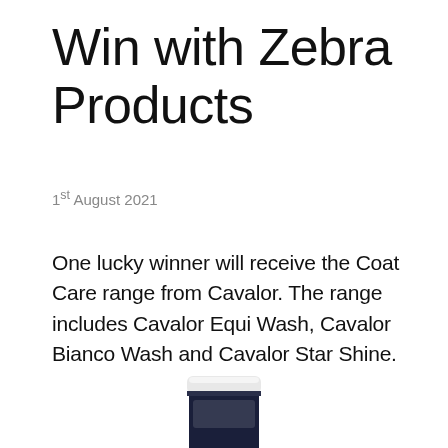Win with Zebra Products
1st August 2021
One lucky winner will receive the Coat Care range from Cavalor. The range includes Cavalor Equi Wash, Cavalor Bianco Wash and Cavalor Star Shine.
[Figure (photo): Product photo of Cavalor coat care product container, dark navy blue tube/jar with white cap, partially visible at bottom of page]